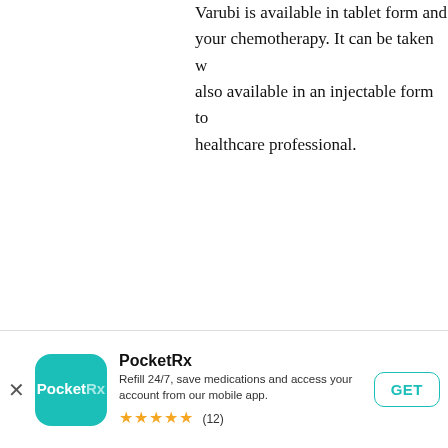Varubi is available in tablet form and your chemotherapy. It can be taken w also available in an injectable form to healthcare professional.
[Figure (screenshot): PocketRx app banner with app icon (teal rounded square), app name 'PocketRx', description 'Refill 24/7, save medications and access your account from our mobile app.', 5 gold stars rating with (12) reviews, and a GET button with teal border.]